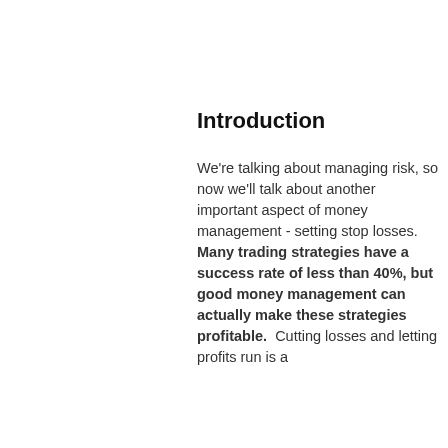Introduction
We're talking about managing risk, so now we'll talk about another important aspect of money management - setting stop losses.  Many trading strategies have a success rate of less than 40%, but good money management can actually make these strategies profitable.  Cutting losses and letting profits run is a